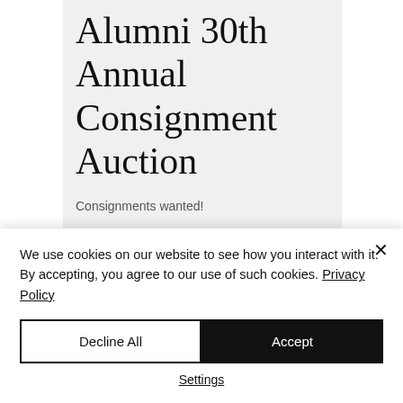Alumni 30th Annual Consignment Auction
Consignments wanted!
Time & Location
Feb 26, 10:00 AM
We use cookies on our website to see how you interact with it. By accepting, you agree to our use of such cookies. Privacy Policy
Decline All
Accept
Settings